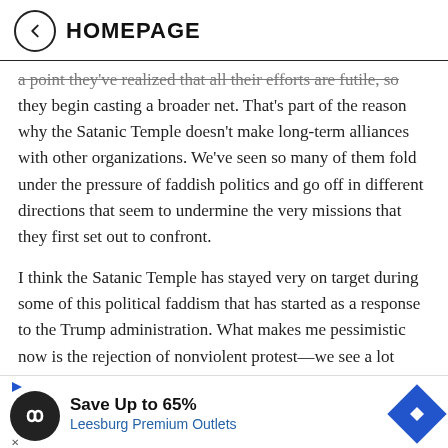← HOMEPAGE
a point they've realized that all their efforts are futile, so they begin casting a broader net. That's part of the reason why the Satanic Temple doesn't make long-term alliances with other organizations. We've seen so many of them fold under the pressure of faddish politics and go off in different directions that seem to undermine the very missions that they first set out to confront.
I think the Satanic Temple has stayed very on target during some of this political faddism that has started as a response to the Trump administration. What makes me pessimistic now is the rejection of nonviolent protest—we see a lot more talk now that we need to punch our opposition—and a lot of talk related to free speech, and how w... certai...
[Figure (infographic): Advertisement banner: Save Up to 65% — Leesburg Premium Outlets, with circular black logo and blue diamond navigation icon]